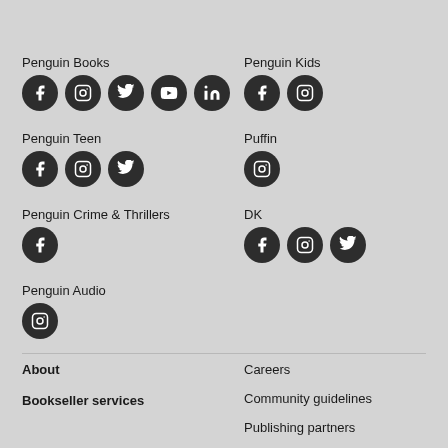Penguin Books
[Figure (infographic): Social media icons (Facebook, Instagram, Twitter, YouTube, LinkedIn) for Penguin Books]
Penguin Kids
[Figure (infographic): Social media icons (Facebook, Instagram) for Penguin Kids]
Penguin Teen
[Figure (infographic): Social media icons (Facebook, Instagram, Twitter) for Penguin Teen]
Puffin
[Figure (infographic): Social media icon (Instagram) for Puffin]
Penguin Crime & Thrillers
[Figure (infographic): Social media icon (Facebook) for Penguin Crime & Thrillers]
DK
[Figure (infographic): Social media icons (Facebook, Instagram, Twitter) for DK]
Penguin Audio
[Figure (infographic): Social media icon (Instagram) for Penguin Audio]
About
Bookseller services
Careers
Community guidelines
Publishing partners